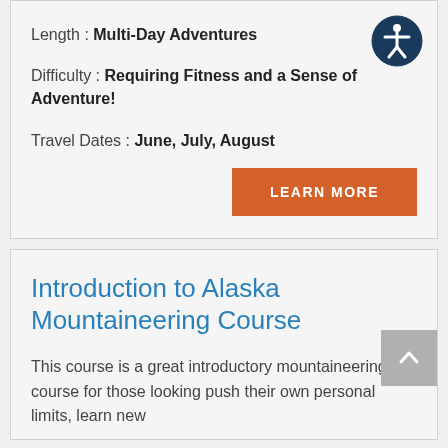Length : Multi-Day Adventures
Difficulty : Requiring Fitness and a Sense of Adventure!
Travel Dates : June, July, August
Introduction to Alaska Mountaineering Course
This course is a great introductory mountaineering course for those looking push their own personal limits, learn new